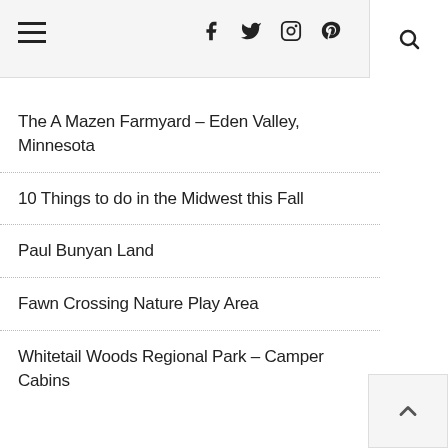Navigation bar with hamburger menu, social icons (Facebook, Twitter, Instagram, Pinterest), and search button
The A Mazen Farmyard – Eden Valley, Minnesota
10 Things to do in the Midwest this Fall
Paul Bunyan Land
Fawn Crossing Nature Play Area
Whitetail Woods Regional Park – Camper Cabins